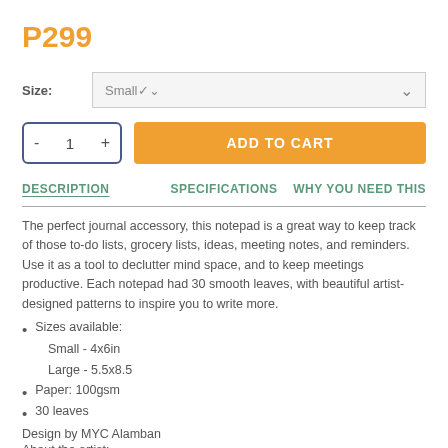P299
Size: Small
- 1 +   ADD TO CART
DESCRIPTION   SPECIFICATIONS   WHY YOU NEED THIS
The perfect journal accessory, this notepad is a great way to keep track of those to-do lists, grocery lists, ideas, meeting notes, and reminders. Use it as a tool to declutter mind space, and to keep meetings productive. Each notepad had 30 smooth leaves, with beautiful artist-designed patterns to inspire you to write more.
Sizes available:
Small - 4x6in
Large - 5.5x8.5
Paper: 100gsm
30 leaves
Design by MYC Alamban
About the artist:
MYC Alamban is an engineer and a self-taught visual artist. She makes traditional